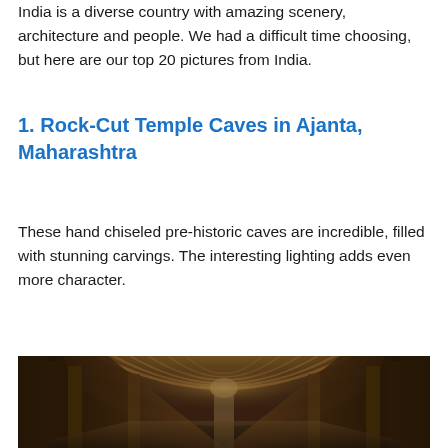India is a diverse country with amazing scenery, architecture and people. We had a difficult time choosing, but here are our top 20 pictures from India.
1. Rock-Cut Temple Caves in Ajanta, Maharashtra
These hand chiseled pre-historic caves are incredible, filled with stunning carvings. The interesting lighting adds even more character.
[Figure (photo): Interior of Ajanta Caves showing rock-cut architecture with arched ribbed ceiling, ornate carved columns and walls with sculptures, perspective view down the central hall]